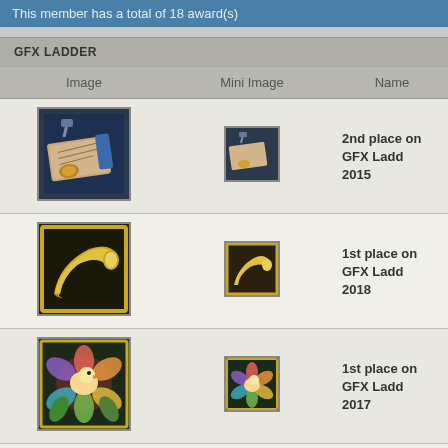This member has a total of 18 award(s)
GFX LADDER
| Image | Mini Image | Name |
| --- | --- | --- |
| [scroll image] | [scroll mini] | 2nd place on GFX Ladder 2015 |
| [horn image] | [horn mini] | 1st place on GFX Ladder 2018 |
| [flower image] | [flower mini] | 1st place on GFX Ladder 2017 |
| [scroll gold image] | [scroll gold mini] | 1st place on GFX Ladder 2016 |
TOUR AWARDS
| Image | Mini Image | Name |
| --- | --- | --- |